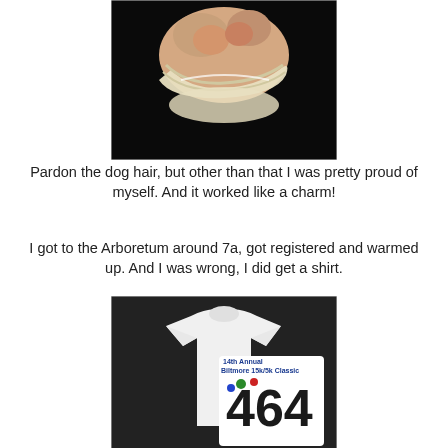[Figure (photo): Close-up photo of a toe/foot with medical tape or a DIY bandage wrap, showing skin and beige fabric bandaging against a dark background.]
Pardon the dog hair, but other than that I was pretty proud of myself. And it worked like a charm!
I got to the Arboretum around 7a, got registered and warmed up. And I was wrong, I did get a shirt.
[Figure (photo): Photo of a white race t-shirt and a race bib numbered 464, labeled '14th Annual Biltmore 15k/5k Classic', placed on a dark surface.]